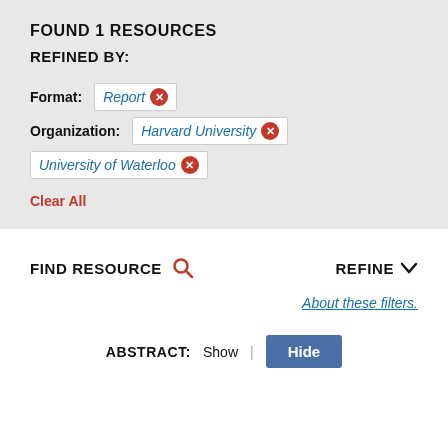FOUND 1 RESOURCES
REFINED BY:
Format: Report ×
Organization: Harvard University × University of Waterloo ×
Clear All
FIND RESOURCE
REFINE
About these filters.
ABSTRACT: Show | Hide